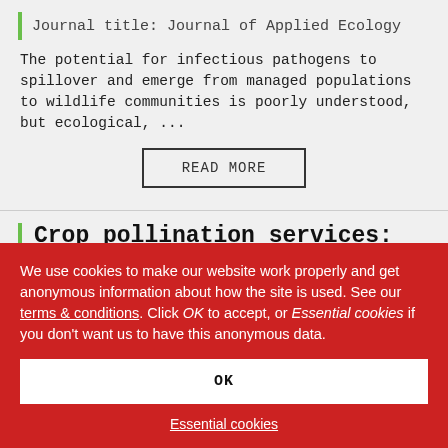Journal title: Journal of Applied Ecology
The potential for infectious pathogens to spillover and emerge from managed populations to wildlife communities is poorly understood, but ecological, ...
READ MORE
Crop pollination services: complementary resource use by
We use cookies to make our website work properly and get anonymous information about how the site is used. See our terms & conditions. Click OK to accept, or Essential cookies if you don't want us to have this anonymous data.
OK
Essential cookies